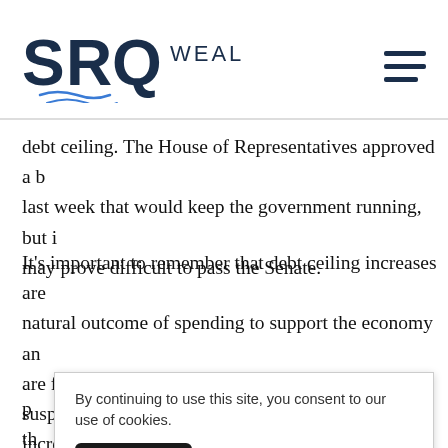SRQ WEALTH
debt ceiling. The House of Representatives approved a b last week that would keep the government running, but i may prove difficult to pass the Senate.
It's important to remember that debt ceiling increases are natural outcome of spending to support the economy an are fairly common. The debt ceiling has been suspended increased 78 times since the 1960s, regardless of which party is in power – 49 times under Republican presidents a p art th e las
By continuing to use this site, you consent to our use of cookies.
ACCEPT